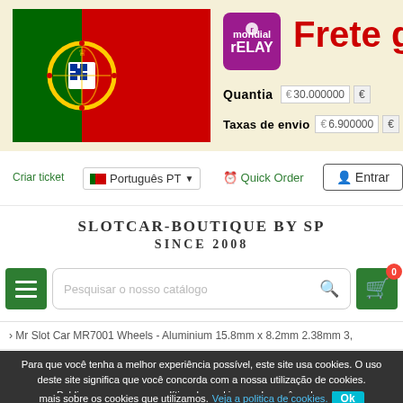[Figure (illustration): Portuguese national flag (green, red, coat of arms) and Mondial Relay logo, with 'Frete gr' text in red, and shipping cost fields showing Quantia €30.000000 and Taxas de envio €6.900000]
Criar ticket
Português PT
Quick Order
Entrar
SLOTCAR-BOUTIQUE BY SP SINCE 2008
[Figure (other): Search bar with hamburger menu button, search input 'Pesquisar o nosso catálogo', and shopping cart icon with badge 0]
Mr Slot Car MR7001 Wheels - Aluminium 15.8mm x 8.2mm 2.38mm 3,
Para que você tenha a melhor experiência possível, este site usa cookies. O uso deste site significa que você concorda com a nossa utilização de cookies. Publicamos uma nova política de cookies, onde você pode saber mais sobre os cookies que utilizamos. Veja a politica de cookies. Ok